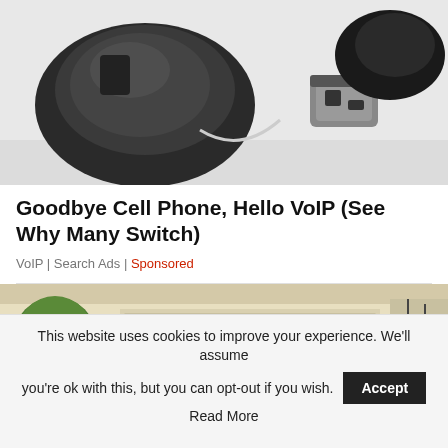[Figure (photo): Close-up of a wireless computer mouse and a USB dongle/receiver on a white background]
Goodbye Cell Phone, Hello VoIP (See Why Many Switch)
VoIP | Search Ads | Sponsored
[Figure (photo): Green pickup truck (RAM or similar) parked in front of a house with a trimmed round topiary tree on the left]
This website uses cookies to improve your experience. We'll assume you're ok with this, but you can opt-out if you wish. Accept Read More